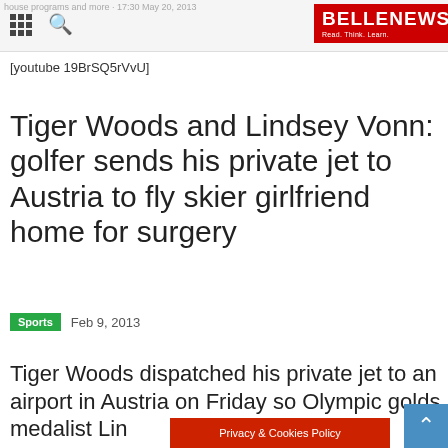BELLE NEWS – Read. Think. Learn.
[youtube 19BrSQ5rVvU]
Tiger Woods and Lindsey Vonn: golfer sends his private jet to Austria to fly skier girlfriend home for surgery
Sports   Feb 9, 2013
Tiger Woods dispatched his private jet to an airport in Austria on Friday so Olympic golds medalist Lin… d fly
Privacy & Cookies Policy